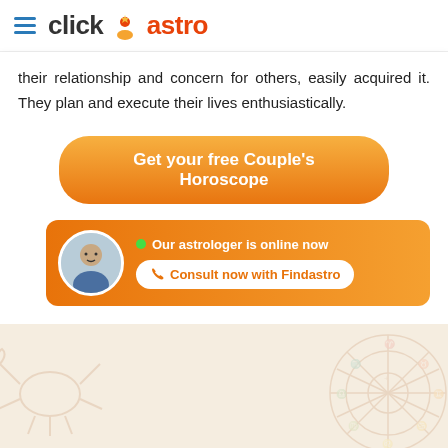click astro
their relationship and concern for others, easily acquired it. They plan and execute their lives enthusiastically.
Get your free Couple's Horoscope
Our astrologer is online now
Consult now with Findastro
OTHER CELEBRITIES COUPLE'S